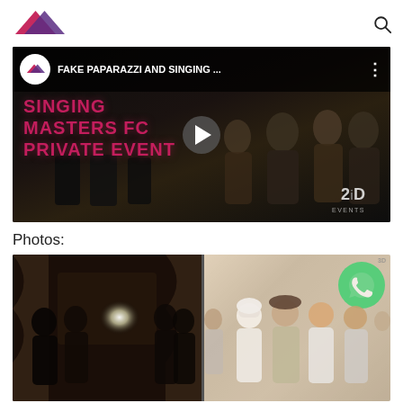Logo and search icon header
[Figure (screenshot): YouTube-style video thumbnail showing 'FAKE PAPARAZZI AND SINGING ...' with 2ID Events watermark and people at a private event]
Photos:
[Figure (photo): Two side-by-side photos of people at a private event. Left photo shows people with camera flash. Right photo shows group of men including one with white turban, with a WhatsApp icon overlay in top right.]